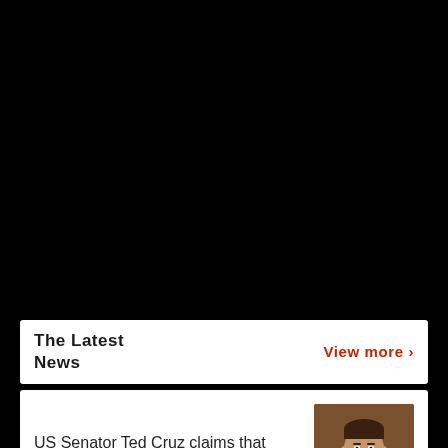[Figure (photo): Black background area taking up top portion of page (screenshot/app interface dark area)]
The Latest News
View more >
US Senator Ted Cruz claims that bitcoin mining is beneficial for the...
[Figure (photo): Photo of US Senator Ted Cruz in a suit]